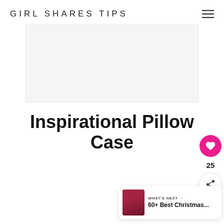GIRL SHARES TIPS
[Figure (other): Light gray image placeholder rectangle]
Inspirational Pillow Case
[Figure (infographic): Social widget with heart button showing 25 likes and share button]
[Figure (other): What's Next widget: 60+ Best Christmas...]